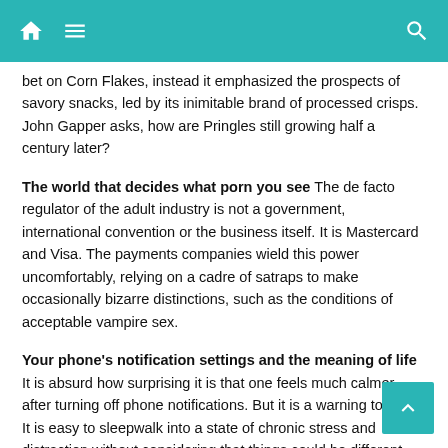bet on Corn Flakes, instead it emphasized the prospects of savory snacks, led by its inimitable brand of processed crisps. John Gapper asks, how are Pringles still growing half a century later?
The world that decides what porn you see The de facto regulator of the adult industry is not a government, international convention or the business itself. It is Mastercard and Visa. The payments companies wield this power uncomfortably, relying on a cadre of satraps to make occasionally bizarre distinctions, such as the conditions of acceptable vampire sex.
Your phone's notification settings and the meaning of life It is absurd how surprising it is that one feels much calmer after turning off phone notifications. But it is a warning to us all. It is easy to sleepwalk into a state of chronic stress and distraction without considering that things could be different, writes Tim Harford.